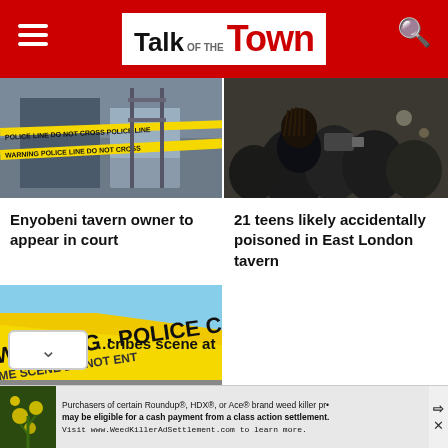Talk of the Town
[Figure (photo): Crime scene with police tape on a building in Enyobeni]
Enyobeni tavern owner to appear in court
[Figure (photo): Crowd of people at a gathering related to 21 teens poisoning in East London]
21 teens likely accidentally poisoned in East London tavern
[Figure (photo): Yellow police warning tape reading WARNING - POLICE CRIME SCENE]
...cribes scene at
Purchasers of certain Roundup®, HDX®, or Ace® brand weed killer pr• may be eligible for a cash payment from a class action settlement. Visit www.WeedKillerAdSettlement.com to learn more.